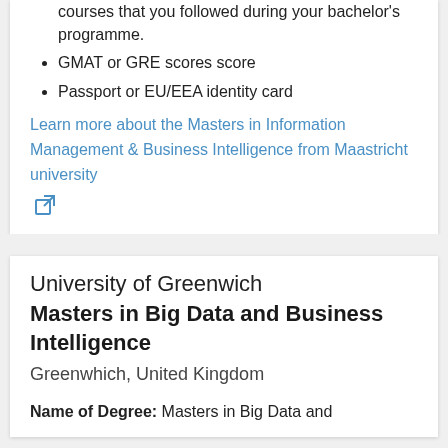courses that you followed during your bachelor’s programme.
GMAT or GRE scores score
Passport or EU/EEA identity card
Learn more about the Masters in Information Management & Business Intelligence from Maastricht university
University of Greenwich Masters in Big Data and Business Intelligence
Greenwhich, United Kingdom
Name of Degree: Masters in Big Data and